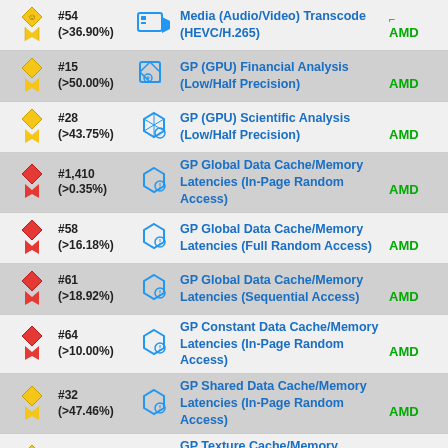| Badge | Rank | Icon | Benchmark Name | Brand |
| --- | --- | --- | --- | --- |
| gold-medal | #54 (>36.90%) | media-icon | Media (Audio/Video) Transcode (HEVC/H.265) | AMD |
| gold-medal | #15 (>50.00%) | gpu-icon | GP (GPU) Financial Analysis (Low/Half Precision) | AMD |
| gold-medal | #28 (>43.75%) | gpu-icon | GP (GPU) Scientific Analysis (Low/Half Precision) | AMD |
| red-medal | #1,410 (>0.35%) | cache-icon | GP Global Data Cache/Memory Latencies (In-Page Random Access) | AMD |
| red-medal | #58 (>16.18%) | cache-icon | GP Global Data Cache/Memory Latencies (Full Random Access) | AMD |
| red-medal | #61 (>18.92%) | cache-icon | GP Global Data Cache/Memory Latencies (Sequential Access) | AMD |
| red-medal | #64 (>10.00%) | cache-icon | GP Constant Data Cache/Memory Latencies (In-Page Random Access) | AMD |
| gold-medal | #32 (>47.46%) | cache-icon | GP Shared Data Cache/Memory Latencies (In-Page Random Access) | AMD |
| gold-medal | #39 (>36.67%) | cache-icon | GP Texture Cache/Memory Latencies (In-Page Random Access) | AMD |
| red-medal | #35 (>30.61%) | cache-icon | GP Texture Cache/Memory Latencies (Full Random Access) | AMD |